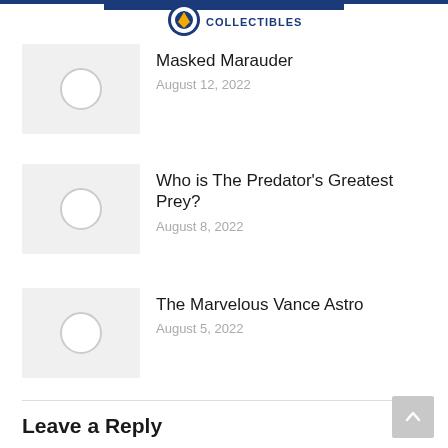[Figure (logo): Collectibles website logo with blue banner and circular emblem with yellow accent, text COLLECTIBLES]
Masked Marauder
August 12, 2022
Who is The Predator’s Greatest Prey?
August 8, 2022
The Marvelous Vance Astro
August 5, 2022
Leave a Reply